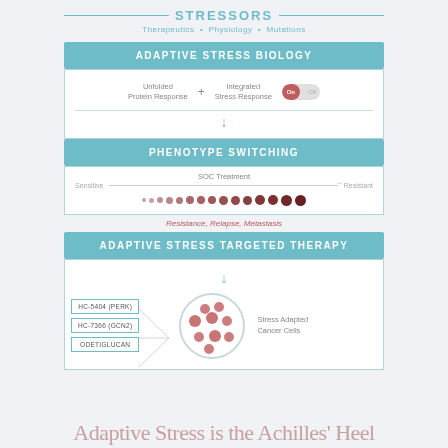[Figure (flowchart): Medical flowchart showing Stressors (Therapeutics, Physiology, Mutations) flowing into Adaptive Stress Biology (Unfolded Protein Response + Integrated Stress Response toggle On), then down arrow to Phenotype Switching (Sensitive to Resistant via SOC Treatment, dots gradient), then Resistance/Relapse/Metastasis label, then Adaptive Stress Targeted Therapy box with arrow down to three drug boxes (HC-5404 (PERK), HC-7366 (GCN2), ODETIGLUCAN) connected to a circle of stress adapted cancer cells, with 'Stress Adapted Cancer Cells' label.]
Adaptive Stress is the Achilles' Heel